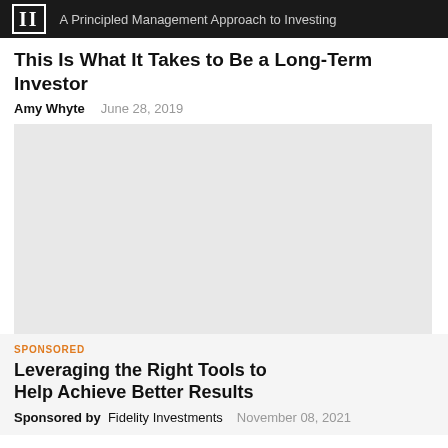II  A Principled Management Approach to Investing
This Is What It Takes to Be a Long-Term Investor
Amy Whyte   June 28, 2019
[Figure (photo): Large light grey image placeholder]
SPONSORED
Leveraging the Right Tools to Help Achieve Better Results
Sponsored by  Fidelity Investments   November 08, 2021